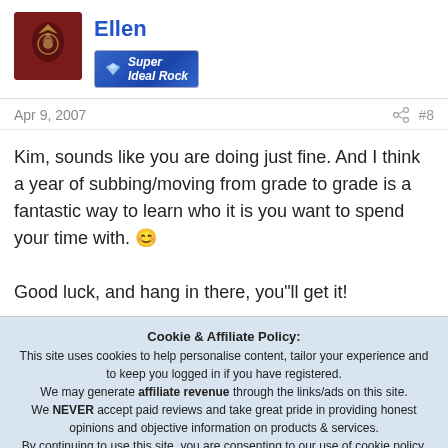[Figure (photo): User avatar thumbnail showing a jewelry/pendant image with dark red background, and username Ellen in blue with Super Ideal Rock badge]
Apr 9, 2007   #8
Kim, sounds like you are doing just fine. And I think a year of subbing/moving from grade to grade is a fantastic way to learn who it is you want to spend your time with. 😊

Good luck, and hang in there, you"ll get it!
Cookie & Affiliate Policy: This site uses cookies to help personalise content, tailor your experience and to keep you logged in if you have registered. We may generate affiliate revenue through the links/ads on this site. We NEVER accept paid reviews and take great pride in providing honest opinions and objective information on products & services. By continuing to use this site, you are consenting to our use of cookie policy.